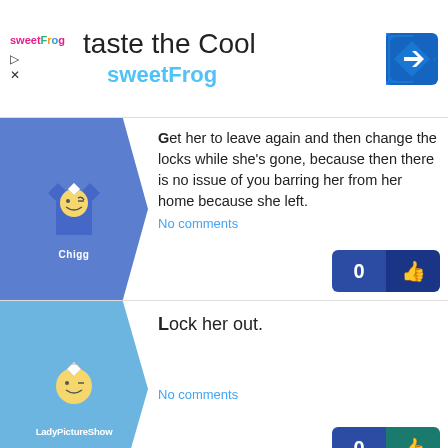[Figure (screenshot): sweetFrog ad banner with logo, title 'taste the Cool', subtitle 'sweetFrog', and a blue navigation arrow icon on the right]
Get her to leave again and then change the locks while she's gone, because then there is no issue of you barring her from her home because she left. No comments 0 👍
Lock her out. No comments 0 👍